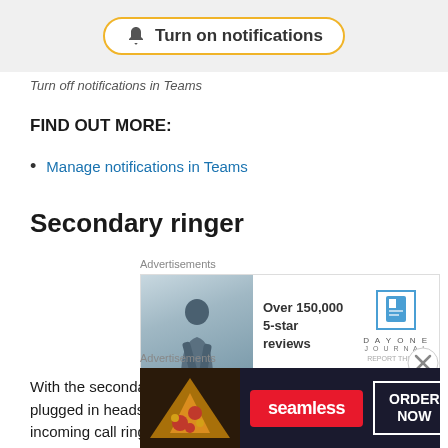[Figure (screenshot): Partial screenshot showing a 'Turn on notifications' button with bell icon and yellow border]
Turn off notifications in Teams
FIND OUT MORE:
Manage notifications in Teams
Secondary ringer
[Figure (other): Advertisement: Day One Journal app - Over 150,000 5-star reviews]
With the secondary ringer functionality, if you wear plugged in headsets you will still be able to hear an incoming call ring from your
[Figure (other): Advertisement: Seamless - Order Now banner ad with pizza imagery]